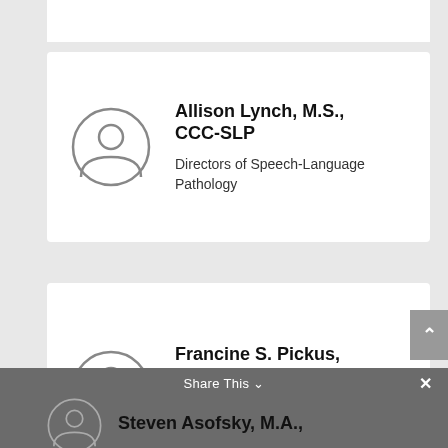[Figure (illustration): Card with avatar icon for Allison Lynch, M.S., CCC-SLP]
Allison Lynch, M.S., CCC-SLP
Directors of Speech-Language Pathology
[Figure (illustration): Card with avatar icon for Francine S. Pickus, M.S., CCC-SLP]
Francine S. Pickus, M.S., CCC-SLP
Directors of Speech-Language Pathology
[Figure (illustration): Partial card with avatar icon for Steven Asofsky, M.A.,]
Steven Asofsky, M.A.,
Share This